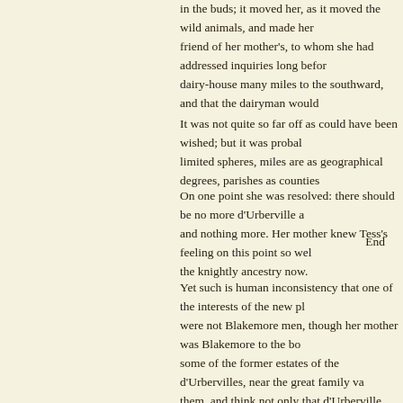in the buds; it moved her, as it moved the wild animals, and made her friend of her mother's, to whom she had addressed inquiries long before dairy-house many miles to the southward, and that the dairyman would
It was not quite so far off as could have been wished; but it was probable limited spheres, miles are as geographical degrees, parishes as counties
On one point she was resolved: there should be no more d'Urberville a and nothing more. Her mother knew Tess's feeling on this point so well the knightly ancestry now.
Yet such is human inconsistency that one of the interests of the new place were not Blakemore men, though her mother was Blakemore to the bone some of the former estates of the d'Urbervilles, near the great family v them, and think not only that d'Urberville, like Babylon, had fallen, bu while she wondered if any strange good thing might come of her being twigs. It was unexpected youth, surging up anew after its temporary ch
End